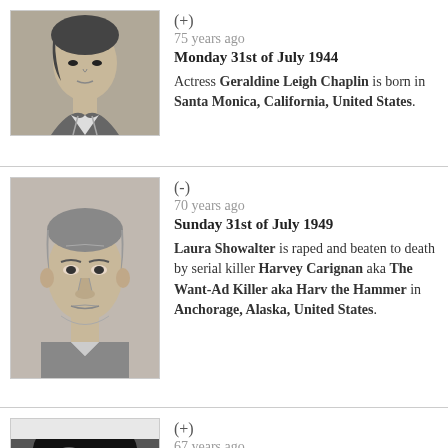[Figure (photo): Black and white portrait photo of young Geraldine Leigh Chaplin]
(+)
75 years ago
Monday 31st of July 1944

Actress Geraldine Leigh Chaplin is born in Santa Monica, California, United States.
[Figure (photo): Black and white mugshot-style photo of Harvey Carignan, middle-aged man facing forward]
(-)
70 years ago
Sunday 31st of July 1949

Laura Showalter is raped and beaten to death by serial killer Harvey Carignan aka The Want-Ad Killer aka Harv the Hammer in Anchorage, Alaska, United States.
[Figure (photo): Black and white photo of a woman with dark hair, partially cropped at bottom]
(+)
67 years ago